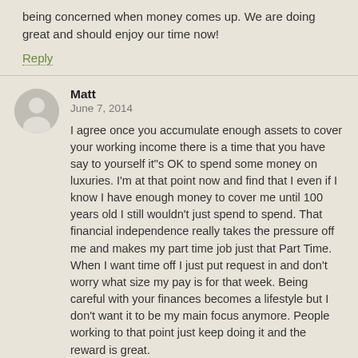being concerned when money comes up. We are doing great and should enjoy our time now!
Reply
Matt
June 7, 2014
I agree once you accumulate enough assets to cover your working income there is a time that you have say to yourself it"s OK to spend some money on luxuries. I'm at that point now and find that I even if I know I have enough money to cover me until 100 years old I still wouldn't just spend to spend. That financial independence really takes the pressure off me and makes my part time job just that Part Time. When I want time off I just put request in and don't worry what size my pay is for that week. Being careful with your finances becomes a lifestyle but I don't want it to be my main focus anymore. People working to that point just keep doing it and the reward is great.
Reply